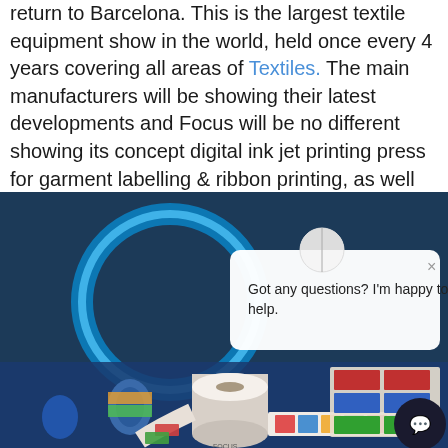return to Barcelona. This is the largest textile equipment show in the world, held once every 4 years covering all areas of Textiles. The main manufacturers will be showing their latest developments and Focus will be no different showing its concept digital ink jet printing press for garment labelling & ribbon printing, as well as the latest Heat Transfer & traditional Letterflex equipment.
[Figure (photo): Photo of printed label rolls and spools on a blue surface with a glowing blue circular light design in the background. A white chat popup overlay reads 'Got any questions? I'm happy to help.' with a close button and a chat bubble icon in the bottom right corner.]